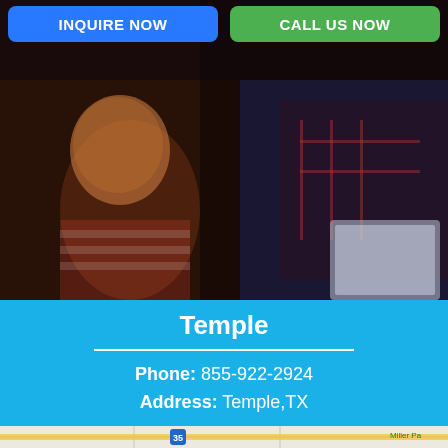[Figure (photo): Child and adult looking at a laptop together in a darkened room with warm ambient light. Child is wearing red and white striped clothing.]
INQUIRE NOW
CALL US NOW
Temple
Phone: 855-922-2924
Address: Temple,TX
[Figure (map): Google Maps showing Temple, TX area with road 35 visible and Miller Park label]